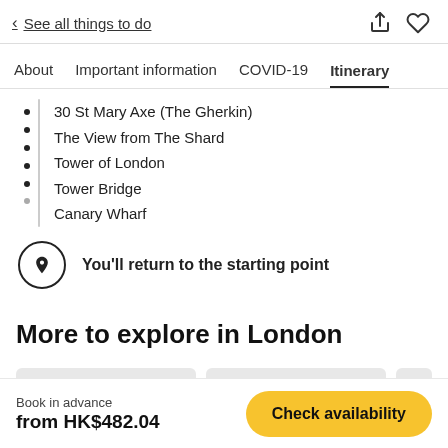< See all things to do
About
Important information
COVID-19
Itinerary
30 St Mary Axe (The Gherkin)
The View from The Shard
Tower of London
Tower Bridge
Canary Wharf
You'll return to the starting point
More to explore in London
Book in advance from HK$482.04  Check availability